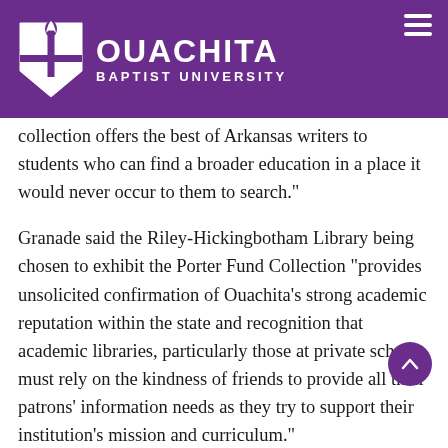Ouachita Baptist University
intr… writers to an audience com… greet them as old friends or might discover them. Most importantly, the collection offers the best of Arkansas writers to students who can find a broader education in a place it would never occur to them to search.”
Granade said the Riley-Hickingbotham Library being chosen to exhibit the Porter Fund Collection “provides unsolicited confirmation of Ouachita’s strong academic reputation within the state and recognition that academic libraries, particularly those at private schools, must rely on the kindness of friends to provide all their patrons’ information needs as they try to support their institution’s mission and curriculum.”
“The Porter Fund was created to counteract the strain of anti-intellectualism in the United States, which is